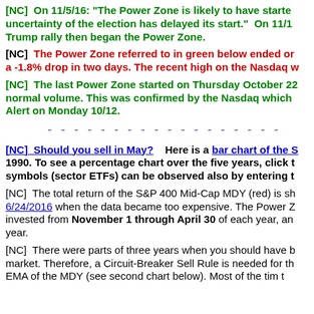[NC]  On 11/5/16: "The Power Zone is likely to have starte uncertainty of the election has delayed its start."  On 11/1 Trump rally then began the Power Zone.
[NC]  The Power Zone referred to in green below ended on a -1.8% drop in two days. The recent high on the Nasdaq w
[NC]  The last Power Zone started on Thursday October 22 normal volume. This was confirmed by the Nasdaq which Alert on Monday 10/12.
- - - - - - - - - - - - - - - - - -
[NC]  Should you sell in May?    Here is a bar chart of the S 1990. To see a percentage chart over the five years, click t symbols (sector ETFs) can be observed also by entering t
[NC]  The total return of the S&P 400 Mid-Cap MDY (red) is sh 6/24/2016 when the data became too expensive. The Power Z invested from November 1 through April 30 of each year, an year.
[NC]  There were parts of three years when you should have b market. Therefore, a Circuit-Breaker Sell Rule is needed for th EMA of the MDY (see second chart below). Most of the tim t